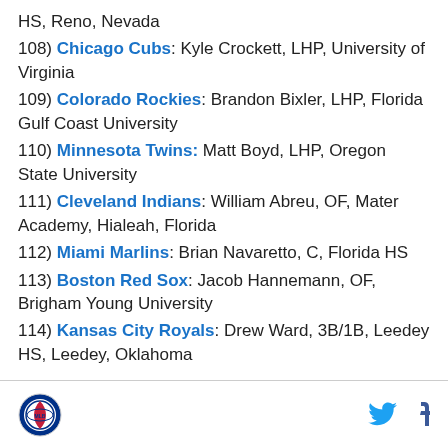HS, Reno, Nevada
108) Chicago Cubs: Kyle Crockett, LHP, University of Virginia
109) Colorado Rockies: Brandon Bixler, LHP, Florida Gulf Coast University
110) Minnesota Twins: Matt Boyd, LHP, Oregon State University
111) Cleveland Indians: William Abreu, OF, Mater Academy, Hialeah, Florida
112) Miami Marlins: Brian Navaretto, C, Florida HS
113) Boston Red Sox: Jacob Hannemann, OF, Brigham Young University
114) Kansas City Royals: Drew Ward, 3B/1B, Leedey HS, Leedey, Oklahoma
MLB logo | Twitter | Facebook